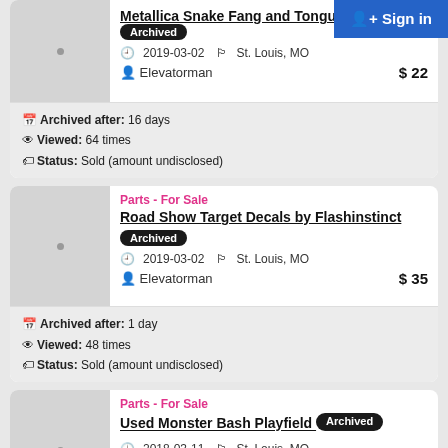Sign in
Metallica Snake Fang and Tongue [Archived] 2019-03-02 St. Louis, MO Elevatorman $22
Archived after: 16 days
Viewed: 64 times
Status: Sold (amount undisclosed)
Parts - For Sale
Road Show Target Decals by Flashinstinct [Archived] 2019-03-02 St. Louis, MO Elevatorman $35
Archived after: 1 day
Viewed: 48 times
Status: Sold (amount undisclosed)
Parts - For Sale
Used Monster Bash Playfield [Archived] 2018-03-11 St. Louis, MO Elevatorman $275
Archived after: 20 days
Viewed: 315 times
Status: Sold (amount undisclosed)